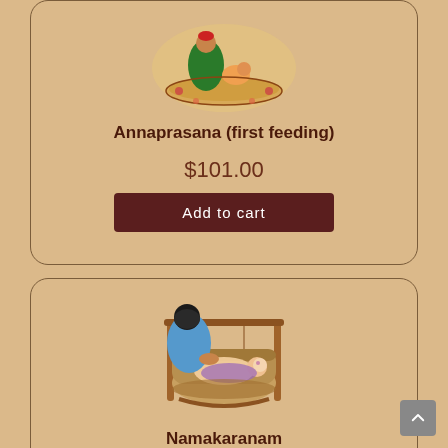[Figure (illustration): Illustration of Annaprasana (first feeding) Hindu ceremony - woman feeding child on decorative plate]
Annaprasana (first feeding)
$101.00
Add to cart
[Figure (illustration): Illustration of Namakaranam ceremony - woman leaning over baby in a wooden cradle]
Namakaranam
$101.00
Add to cart